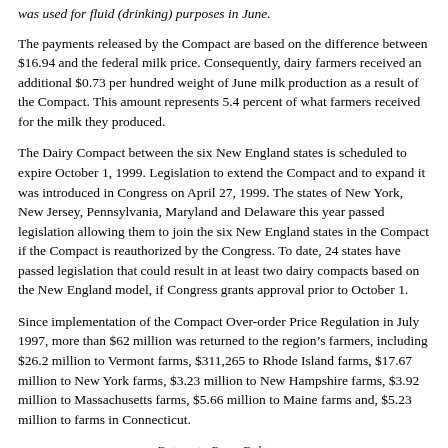was used for fluid (drinking) purposes in June.
The payments released by the Compact are based on the difference between $16.94 and the federal milk price. Consequently, dairy farmers received an additional $0.73 per hundred weight of June milk production as a result of the Compact. This amount represents 5.4 percent of what farmers received for the milk they produced.
The Dairy Compact between the six New England states is scheduled to expire October 1, 1999. Legislation to extend the Compact and to expand it was introduced in Congress on April 27, 1999. The states of New York, New Jersey, Pennsylvania, Maryland and Delaware this year passed legislation allowing them to join the six New England states in the Compact if the Compact is reauthorized by the Congress. To date, 24 states have passed legislation that could result in at least two dairy compacts based on the New England model, if Congress grants approval prior to October 1.
Since implementation of the Compact Over-order Price Regulation in July 1997, more than $62 million was returned to the region’s farmers, including $26.2 million to Vermont farms, $311,265 to Rhode Island farms, $17.67 million to New York farms, $3.23 million to New Hampshire farms, $3.92 million to Massachusetts farms, $5.66 million to Maine farms and, $5.23 million to farms in Connecticut.
Return to Press Releases
Return to the Northeast Dairy Compact Home Page